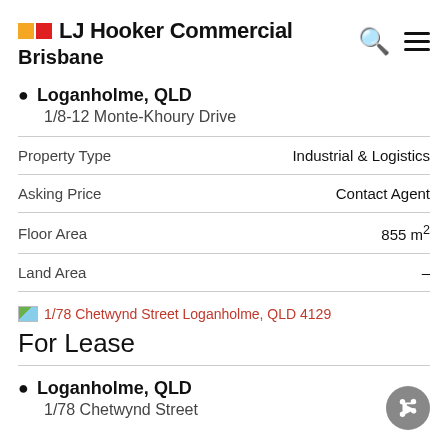LJ Hooker Commercial Brisbane
Loganholme, QLD
1/8-12 Monte-Khoury Drive
|  |  |
| --- | --- |
| Property Type | Industrial & Logistics |
| Asking Price | Contact Agent |
| Floor Area | 855 m² |
| Land Area | – |
1/78 Chetwynd Street Loganholme, QLD 4129
For Lease
Loganholme, QLD
1/78 Chetwynd Street